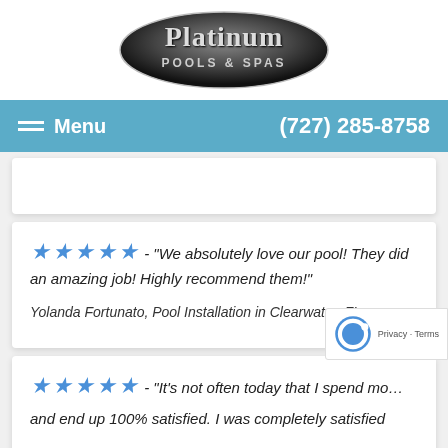[Figure (logo): Platinum Pools & Spas logo — oval shape with gradient dark background, text 'Platinum' in large serif font and 'POOLS & SPAS' below in smaller caps]
Menu   (727) 285-8758
★★★★★ - "We absolutely love our pool! They did an amazing job! Highly recommend them!"
Yolanda Fortunato, Pool Installation in Clearwater, FL
★★★★★ - "It's not often today that I spend mo... and end up 100% satisfied. I was completely satisfied